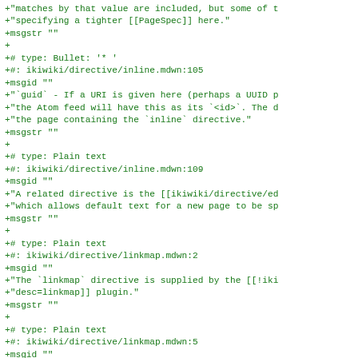+("matches by that value are included, but some of t
+("specifying a tighter [[PageSpec]] here."
+msgstr ""
+
+# type: Bullet: '* '
+#: ikiwiki/directive/inline.mdwn:105
+msgid ""
+("\`guid\` - If a URI is given here (perhaps a UUID p
+("the Atom feed will have this as its `<id>`. The d
+("the page containing the `inline` directive."
+msgstr ""
+
+# type: Plain text
+#: ikiwiki/directive/inline.mdwn:109
+msgid ""
+("A related directive is the [[ikiwiki/directive/ed
+("which allows default text for a new page to be sp
+msgstr ""
+
+# type: Plain text
+#: ikiwiki/directive/linkmap.mdwn:2
+msgid ""
+("The `linkmap` directive is supplied by the [[!iki
+("desc=linkmap]] plugin."
+msgstr ""
+
+# type: Plain text
+#: ikiwiki/directive/linkmap.mdwn:5
+msgid ""
+("This directive uses [graphviz](http://www.graphvi